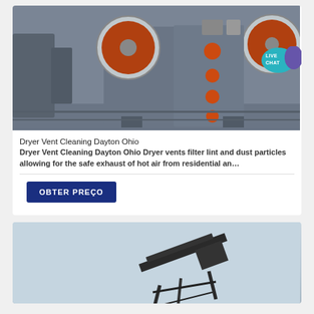[Figure (photo): Industrial jaw crusher machine in a warehouse, grey body with orange circular components and accents, live chat bubble overlay in top right corner]
Dryer Vent Cleaning Dayton Ohio
Dryer Vent Cleaning Dayton Ohio Dryer vents filter lint and dust particles allowing for the safe exhaust of hot air from residential an…
OBTER PREÇO
[Figure (photo): Industrial conveyor or screening machine on light blue/grey background, partial view]